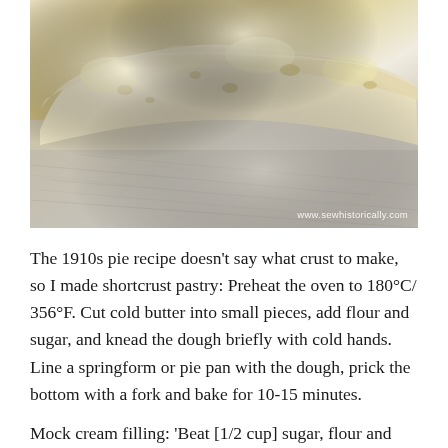[Figure (photo): Close-up photo of shortcrust pastry/pie crust with a flaky, bubbly texture on a scratched metal surface. Watermark reads: www.sewhistorically.com]
The 1910s pie recipe doesn't say what crust to make, so I made shortcrust pastry: Preheat the oven to 180°C/ 356°F. Cut cold butter into small pieces, add flour and sugar, and knead the dough briefly with cold hands. Line a springform or pie pan with the dough, prick the bottom with a fork and bake for 10-15 minutes.
Mock cream filling: 'Beat [1/2 cup] sugar, flour and egg yolks together. After they will be smooth, boil, add the